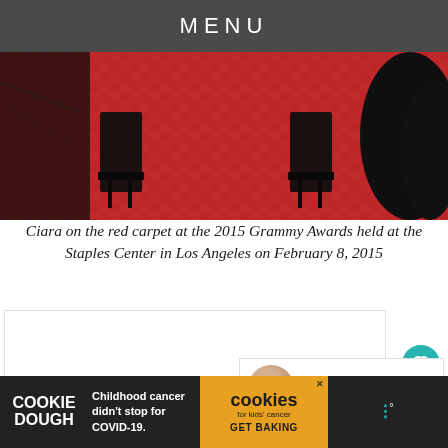MENU
[Figure (photo): Red carpet photo showing two people's legs and feet in black high heels on a red carpet, with black dress fabric visible on the right side.]
Ciara on the red carpet at the 2015 Grammy Awards held at the Staples Center in Los Angeles on February 8, 2015
[Figure (screenshot): White content box area below caption, with heart/like and share floating action buttons on the right side, and a 'WHAT'S NEXT' card reading 'The 7 Worst Dressed...']
[Figure (other): Advertisement bar at bottom: Cookie Dough brand ad with text 'Childhood cancer didn't stop for COVID-19.' and cookies for kids cancer GET BAKING logo, plus app icon dots on right.]